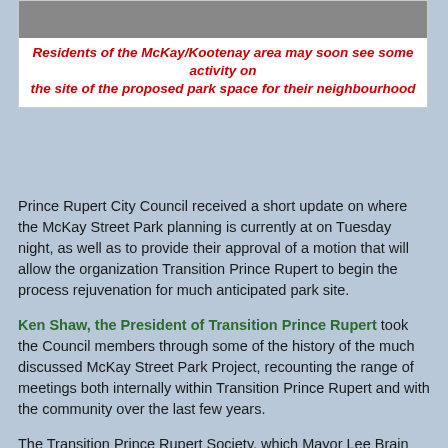[Figure (photo): Photograph of the McKay/Kootenay area park site, showing a grey/brown ground surface]
Residents of the McKay/Kootenay area may soon see some activity on the site of the proposed park space for their neighbourhood
Prince Rupert City Council received a short update on where the McKay Street Park planning is currently at on Tuesday night, as well as to provide their approval of a motion that will allow the organization Transition Prince Rupert to begin the process rejuvenation for much anticipated park site.
Ken Shaw, the President of Transition Prince Rupert took the Council members through some of the history of the much discussed McKay Street Park Project, recounting the range of meetings both internally within Transition Prince Rupert and with the community over the last few years.
The Transition Prince Rupert Society, which Mayor Lee Brain once served as a participant with and founding member of prior to his running for office, has long advocated for an ambitious park redevelopment with many elements to